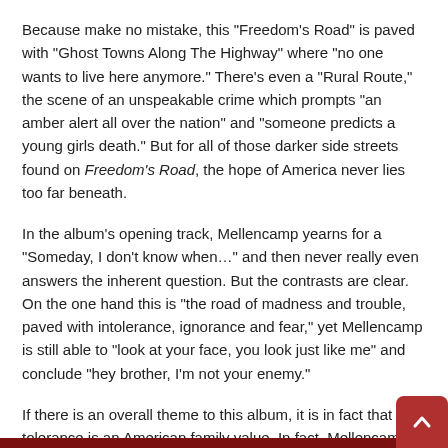Because make no mistake, this "Freedom's Road" is paved with "Ghost Towns Along The Highway" where "no one wants to live here anymore." There's even a "Rural Route," the scene of an unspeakable crime which prompts "an amber alert all over the nation" and "someone predicts a young girls death." But for all of those darker side streets found on Freedom's Road, the hope of America never lies too far beneath.
In the album's opening track, Mellencamp yearns for a "Someday, I don't know when…" and then never really even answers the inherent question. But the contrasts are clear. On the one hand this is "the road of madness and trouble, paved with intolerance, ignorance and fear," yet Mellencamp is still able to "look at your face, you look just like me" and conclude "hey brother, I'm not your enemy."
If there is an overall theme to this album, it is in fact that tolerance is an American family value. In fact, Mellencamp could just have well titled the album "Tolerance." He puts it simply and succinctly on the track "The Americans" with it's refrain of "I'm An American, I respect